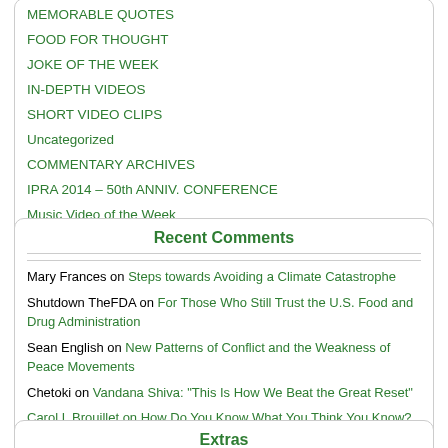MEMORABLE QUOTES
FOOD FOR THOUGHT
JOKE OF THE WEEK
IN-DEPTH VIDEOS
SHORT VIDEO CLIPS
Uncategorized
COMMENTARY ARCHIVES
IPRA 2014 – 50th ANNIV. CONFERENCE
Music Video of the Week
Recent Comments
Mary Frances on Steps towards Avoiding a Climate Catastrophe
Shutdown TheFDA on For Those Who Still Trust the U.S. Food and Drug Administration
Sean English on New Patterns of Conflict and the Weakness of Peace Movements
Chetoki on Vandana Shiva: “This Is How We Beat the Great Reset”
Carol L Brouillet on How Do You Know What You Think You Know? The Value of Dissident Voices
Extras